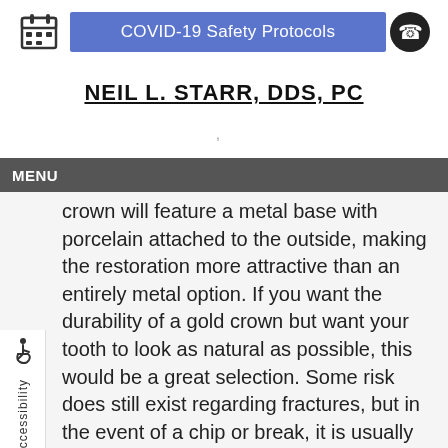COVID-19 Safety Protocols
NEIL L. STARR, DDS, PC
MENU
crown will feature a metal base with porcelain attached to the outside, making the restoration more attractive than an entirely metal option. If you want the durability of a gold crown but want your tooth to look as natural as possible, this would be a great selection. Some risk does still exist regarding fractures, but in the event of a chip or break, it is usually